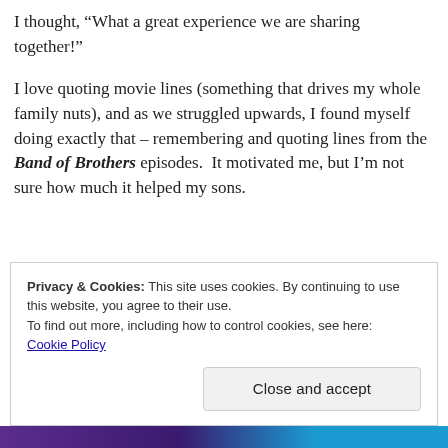I thought, “What a great experience we are sharing together!”
I love quoting movie lines (something that drives my whole family nuts), and as we struggled upwards, I found myself doing exactly that – remembering and quoting lines from the Band of Brothers episodes.  It motivated me, but I’m not sure how much it helped my sons.
Privacy & Cookies: This site uses cookies. By continuing to use this website, you agree to their use.
To find out more, including how to control cookies, see here:
Cookie Policy
Close and accept